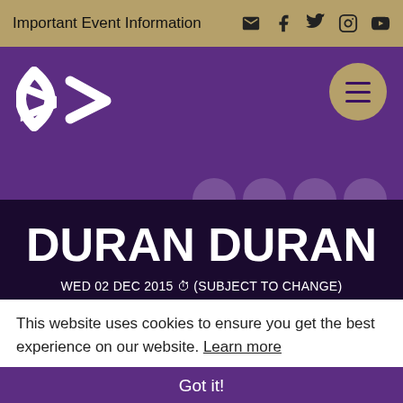Important Event Information
[Figure (logo): Barbican logo - stylized double 'B' in white on purple background]
DURAN DURAN
WED 02 DEC 2015 ⏱ (SUBJECT TO CHANGE)
RUNNING TIMES: (SUBJECT TO CHANGE) DOORS 6:30PM
| BLOOM TWINS 7:30PM - 7:50PM | INTERVAL | SEAL
This website uses cookies to ensure you get the best experience on our website. Learn more
Got it!